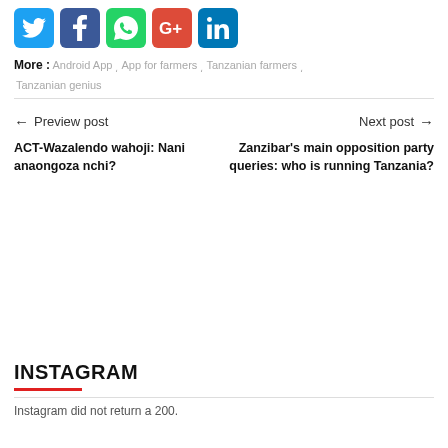[Figure (infographic): Row of social media share icons: Twitter (blue bird), Facebook (blue f), WhatsApp (green phone), Google+ (red G+), LinkedIn (blue in)]
More : Android App , App for farmers , Tanzanian farmers , Tanzanian genius
← Preview post    Next post →
ACT-Wazalendo wahoji: Nani anaongoza nchi?
Zanzibar's main opposition party queries: who is running Tanzania?
INSTAGRAM
Instagram did not return a 200.